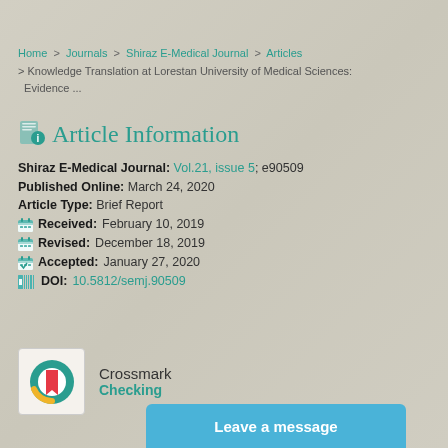Home > Journals > Shiraz E-Medical Journal > Articles > Knowledge Translation at Lorestan University of Medical Sciences: Evidence ...
Article Information
Shiraz E-Medical Journal: Vol.21, issue 5; e90509
Published Online: March 24, 2020
Article Type: Brief Report
Received: February 10, 2019
Revised: December 18, 2019
Accepted: January 27, 2020
DOI: 10.5812/semj.90509
[Figure (logo): Crossmark logo with circular icon showing red and yellow arc on teal circle]
Crossmark
Checking
Leave a message